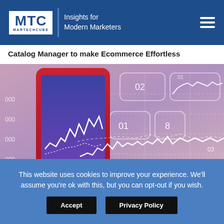MTC MARTECHCUBE | Insights for Modern Marketers
Catalog Manager to make Ecommerce Effortless
[Figure (photo): A hand holding a smartphone displaying financial/analytics charts and graphs, with overlay data visualization elements showing line graphs, numbers like 02, 01, 8, and values like 000 on axes, in red/blue/purple tones.]
This website uses cookies to improve your experience. We'll assume you're ok with this, but you can opt-out if you wish.
Accept   Privacy Policy